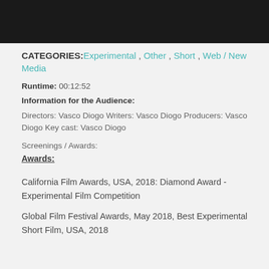[Figure (photo): Dark/black image strip at top of page]
CATEGORIES: Experimental , Other , Short , Web / New Media
Runtime: 00:12:52
Information for the Audience:
Directors: Vasco Diogo Writers: Vasco Diogo Producers: Vasco Diogo Key cast: Vasco Diogo
Screenings / Awards:
Awards:
California Film Awards, USA, 2018: Diamond Award - Experimental Film Competition
Global Film Festival Awards, May 2018, Best Experimental Short Film, USA, 2018